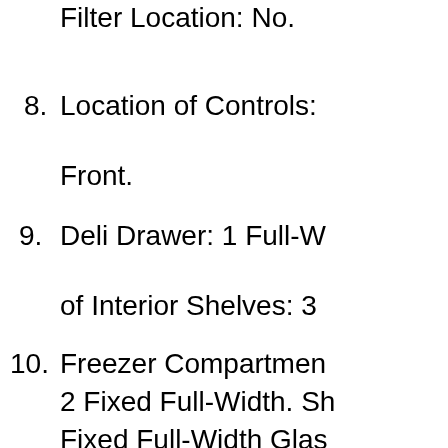Filter Location: No.
8. Location of Controls: Front.
9. Deli Drawer: 1 Full-W... of Interior Shelves: 3
10. Freezer Compartmen... 2 Fixed Full-Width. Sh... Fixed Full-Width Glas... is optional.